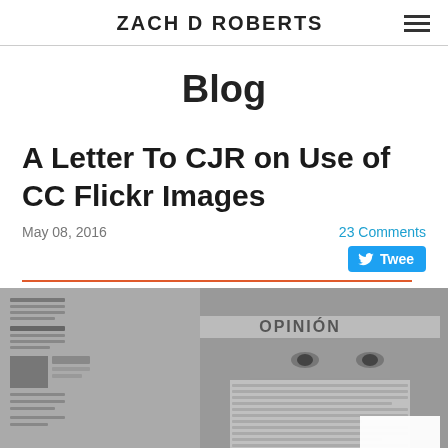ZACH D ROBERTS
Blog
A Letter To CJR on Use of CC Flickr Images
May 08, 2016
23 Comments
Tweet
[Figure (photo): Black and white photo of a person with newspapers covering their face, with the word OPINION visible on a newspaper band across their forehead. Spanish text visible including 'CENSURA Y LIBRE EXPRESION'.]